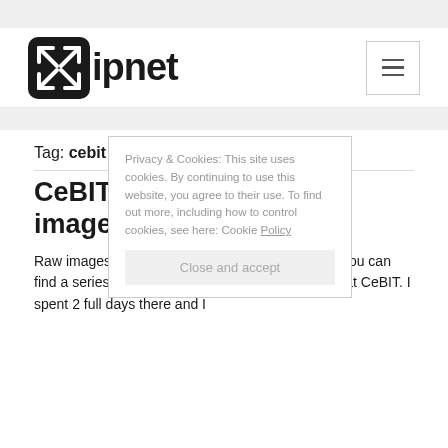ipnet
Tag: cebit
CeBIT 2009: The event in images
Raw images from CeBIT 2009 in Hanover. Below you can find a series of photos from what I saw interesting at CeBIT. I spent 2 full days there and I
Privacy & Cookies: This site uses cookies. By continuing to use this website, you agree to their use. To find out more, including how to control cookies, see here: Cookie Policy
Close and accept